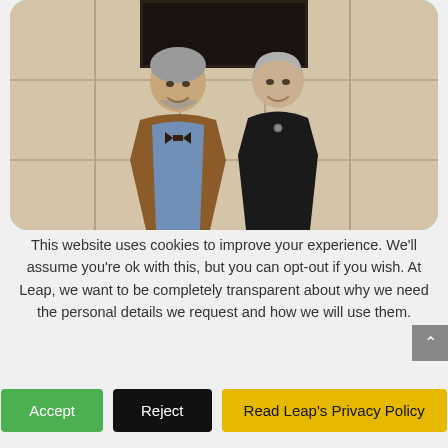[Figure (photo): Two older adults (a man with gray beard in brown blazer and blue shirt, and a woman with short gray hair in black top) smiling at each other, standing against a light wood-paneled wall with a dark window above.]
This website uses cookies to improve your experience. We'll assume you're ok with this, but you can opt-out if you wish. At Leap, we want to be completely transparent about why we need the personal details we request and how we will use them.
Accept
Reject
Read Leap's Privacy Policy